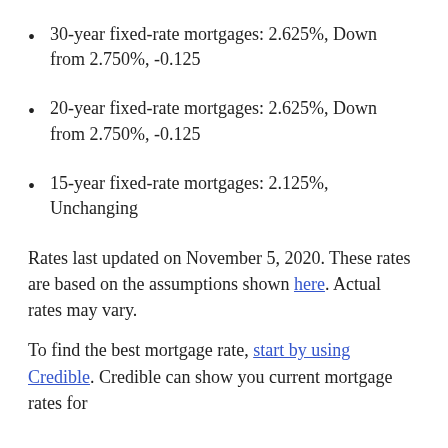30-year fixed-rate mortgages: 2.625%, Down from 2.750%, -0.125
20-year fixed-rate mortgages: 2.625%, Down from 2.750%, -0.125
15-year fixed-rate mortgages: 2.125%, Unchanging
Rates last updated on November 5, 2020. These rates are based on the assumptions shown here. Actual rates may vary.
To find the best mortgage rate, start by using Credible. Credible can show you current mortgage rates for